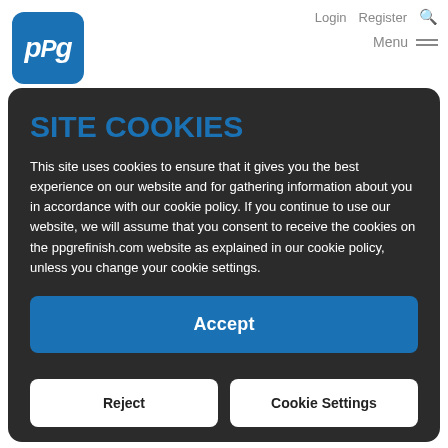[Figure (logo): PPG logo — white italic 'ppg' text on blue rounded square background]
Login   Register   🔍   Menu ≡
SITE COOKIES
This site uses cookies to ensure that it gives you the best experience on our website and for gathering information about you in accordance with our cookie policy. If you continue to use our website, we will assume that you consent to receive the cookies on the ppgrefinish.com website as explained in our cookie policy, unless you change your cookie settings.
Accept
Reject
Cookie Settings